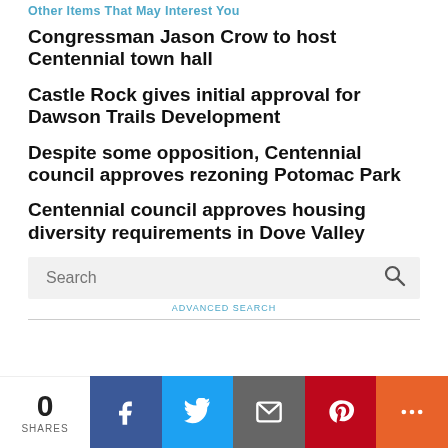Other Items That May Interest You
Congressman Jason Crow to host Centennial town hall
Castle Rock gives initial approval for Dawson Trails Development
Despite some opposition, Centennial council approves rezoning Potomac Park
Centennial council approves housing diversity requirements in Dove Valley
Search
ADVANCED SEARCH
0
SHARES